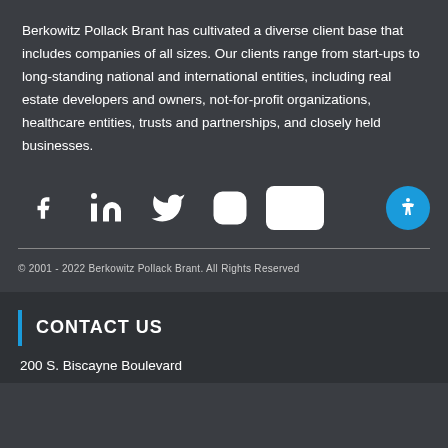Berkowitz Pollack Brant has cultivated a diverse client base that includes companies of all sizes. Our clients range from start-ups to long-standing national and international entities, including real estate developers and owners, not-for-profit organizations, healthcare entities, trusts and partnerships, and closely held businesses.
[Figure (other): Social media icons: Facebook, LinkedIn, Twitter, Instagram, YouTube, and an accessibility button]
© 2001 - 2022 Berkowitz Pollack Brant. All Rights Reserved
CONTACT US
200 S. Biscayne Boulevard